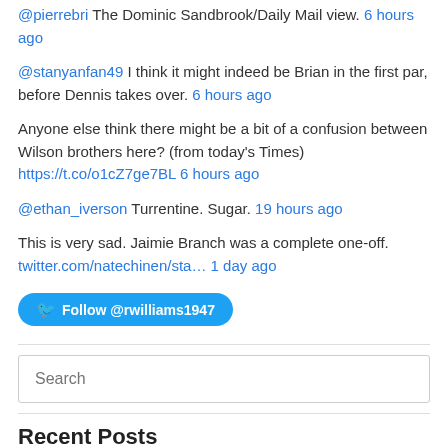@pierrebri The Dominic Sandbrook/Daily Mail view. 6 hours ago
@stanyanfan49 I think it might indeed be Brian in the first par, before Dennis takes over. 6 hours ago
Anyone else think there might be a bit of a confusion between Wilson brothers here? (from today's Times) https://t.co/o1cZ7ge7BL 6 hours ago
@ethan_iverson Turrentine. Sugar. 19 hours ago
This is very sad. Jaimie Branch was a complete one-off. twitter.com/natechinen/sta… 1 day ago
Follow @rwilliams1947
Search
Recent Posts